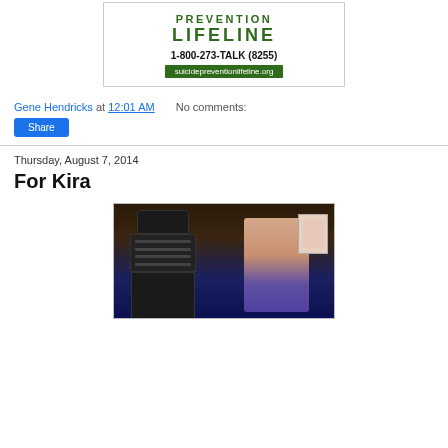[Figure (photo): Suicide Prevention Lifeline image with text: PREVENTION LIFELINE, 1-800-273-TALK (8255), suicidepreventionlifeline.org]
Gene Hendricks at 12:01 AM   No comments:
Share
Thursday, August 7, 2014
For Kira
[Figure (photo): Photo of a young girl with reddish-brown hair standing next to a Dalek (Doctor Who prop) in what appears to be a venue with blue walls and a sign in the background.]